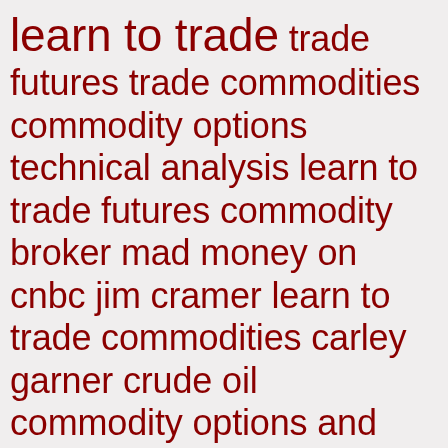learn to trade trade futures trade commodities commodity options technical analysis learn to trade futures commodity broker mad money on cnbc jim cramer learn to trade commodities carley garner crude oil commodity options and futures trading webinar gold crude crude oil futures option selling commodity market futures brokerage mad money